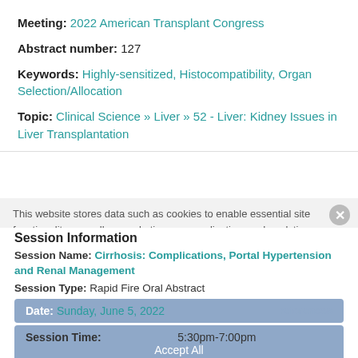Meeting: 2022 American Transplant Congress
Abstract number: 127
Keywords: Highly-sensitized, Histocompatibility, Organ Selection/Allocation
Topic: Clinical Science » Liver » 52 - Liver: Kidney Issues in Liver Transplantation
Session Information
Session Name: Cirrhosis: Complications, Portal Hypertension and Renal Management
Session Type: Rapid Fire Oral Abstract
Date: Sunday, June 5, 2022
Session Time: 5:30pm-7:00pm
Presentation Time: 6:20pm-6:30pm
Location: Hynes Room 311